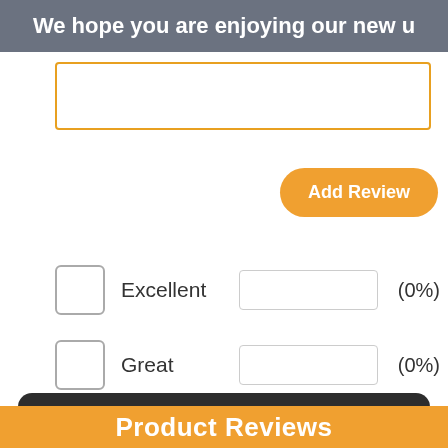We hope you are enjoying our new u
(input text box area)
Add Review
Excellent (0%)
Great (0%)
This website uses cookies
We use cookies to be able to provide social media features, analyse our traffic and behaviour of the visitors on our website and for marketing purposes. Sometimes we share this anonymised information to 3rd party partner companies. More information
I accept all Cookies
Change settings
Product Reviews